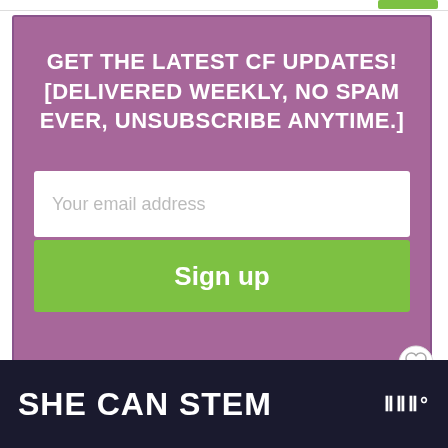Get the latest CF updates! [Delivered weekly, no spam ever, unsubscribe anytime.]
Your email address
Sign up
SHE CAN STEM